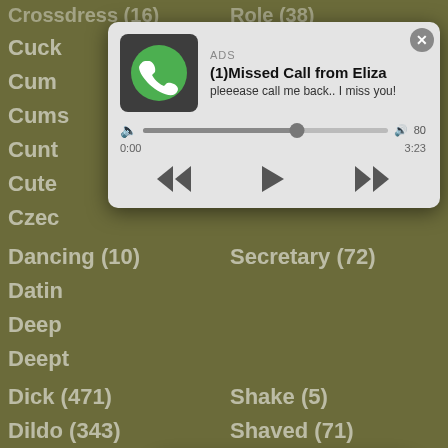[Figure (screenshot): Background website category list with items like Crossdress, Cuckold, Cum, Cumshot, Cunt, Cute, Czech on left and Role, Secretary, Shake, Shaved, Shemale, Short, Shorts, Shower, Shy on right]
[Figure (screenshot): Audio ad popup: ADS label, title '(1)Missed Call from Eliza', subtitle 'pleeease call me back.. I miss you!', audio player with progress bar, time 0:00 and 3:23, playback controls]
[Figure (screenshot): Chat ad popup: circular avatar with LIVE badge, pink gradient bubble with ADS label, 'Angel is typing ... 💬', '(1) unread message', close X button]